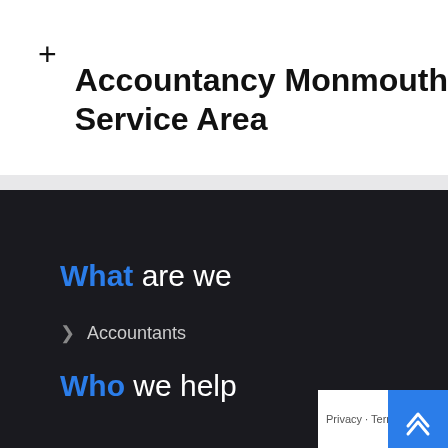Accountancy Monmouth Service Area
What are we
Accountants
Who we help
Privacy · Terms